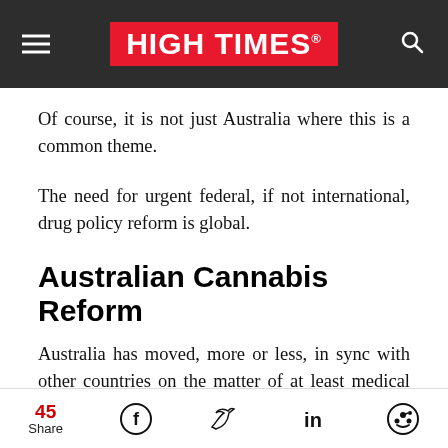HIGH TIMES
Of course, it is not just Australia where this is a common theme.
The need for urgent federal, if not international, drug policy reform is global.
Australian Cannabis Reform
Australia has moved, more or less, in sync with other countries on the matter of at least medical cannabis
45 Share [Facebook] [Twitter] [LinkedIn] [Reddit]